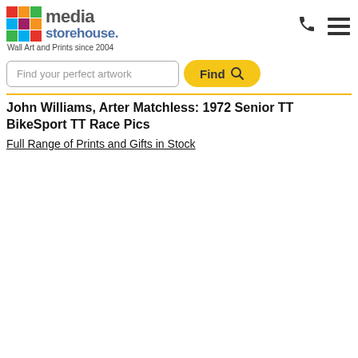[Figure (logo): Media Storehouse logo with colorful grid icon and text]
Wall Art and Prints since 2004
Find your perfect artwork
Find
John Williams, Arter Matchless: 1972 Senior TT BikeSport TT Race Pics
Full Range of Prints and Gifts in Stock